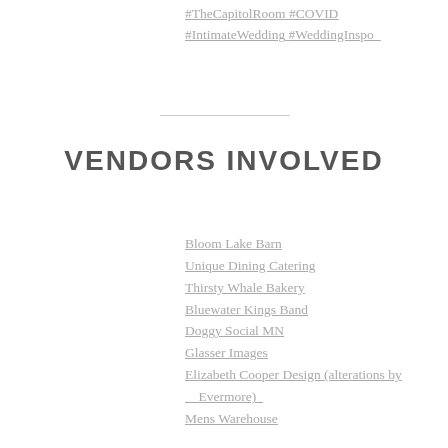#TheCapitolRoom #COVID #IntimateWedding #WeddingInspo_
VENDORS INVOLVED
Bloom Lake Barn
Unique Dining Catering
Thirsty Whale Bakery
Bluewater Kings Band
Doggy Social MN
Glasser Images
Elizabeth Cooper Design (alterations by Evermore)_
Mens Warehouse